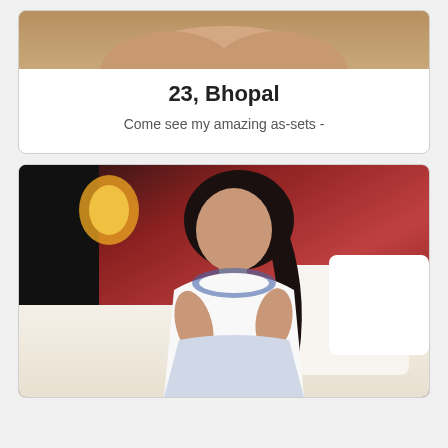[Figure (photo): Top cropped photo showing legs/torso area with beige/skin tones, partial view]
23, Bhopal
Come see my amazing as-sets -
[Figure (photo): Woman with long dark hair wearing a white and blue patterned dress sitting on a bed with white pillows, red background wall, holding something in her hands]